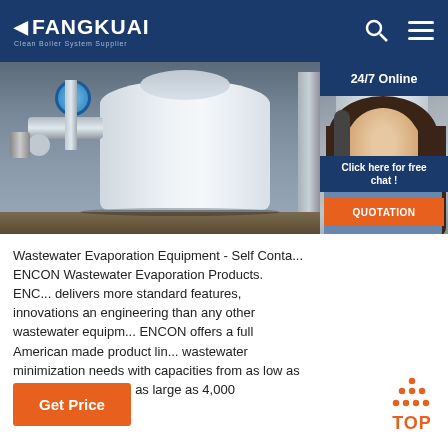FANGKUAI - Clean Boiler System Supplier
[Figure (photo): Industrial wastewater evaporation equipment with pipes, valves, and large cylindrical tank on a factory floor. A customer service agent with headset overlaid on right side with '24/7 Online' badge, 'Click here for free chat!' text, and QUOTATION button.]
Wastewater Evaporation Equipment - Self Conta... ENCON Wastewater Evaporation Products. ENC... delivers more standard features, innovations an... engineering than any other wastewater equipm... ENCON offers a full American made product lin... wastewater minimization needs with capacities from as low as 20... gallons/week to as large as 4,000 gallons/hour.
[Figure (infographic): TOP button with orange dotted arrow pointing up and bold orange TOP text]
Get Price